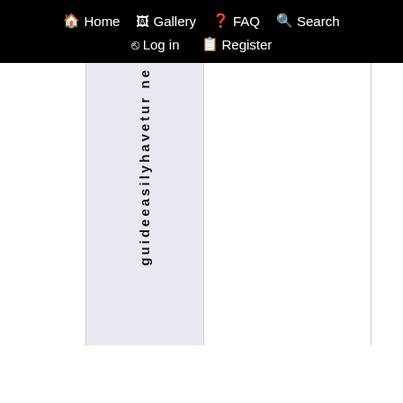Home  Gallery  FAQ  Search  Log in  Register
guideeasilyhaveturne